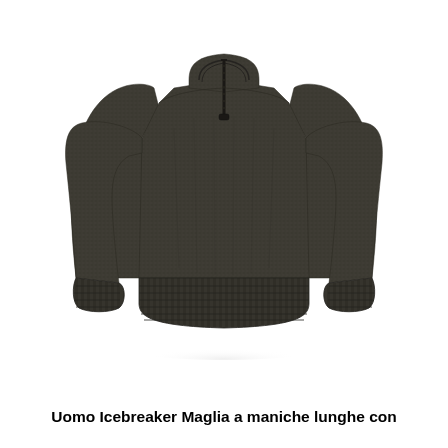[Figure (photo): A dark olive/charcoal grey men's knit sweater with a quarter-zip collar, long sleeves, and ribbed cuffs and hem, photographed on a white background.]
Uomo Icebreaker Maglia a maniche lunghe con